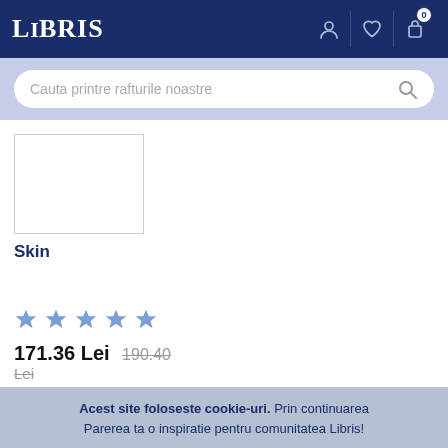LIBRIS
Cauta printre rafturile noastre
[Figure (photo): Product image placeholder — white box with border]
Skin
[Figure (other): Five blue star rating icons]
171.36 Lei 190.40 Lei
Acest site foloseste cookie-uri. Prin continuarea Parerea ta o inspiratie pentru comunitatea Libris!